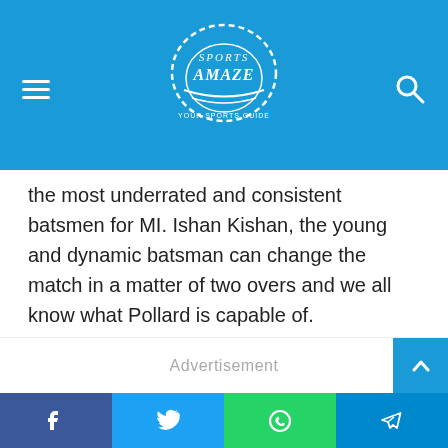SportsAmaze
the most underrated and consistent batsmen for MI. Ishan Kishan, the young and dynamic batsman can change the match in a matter of two overs and we all know what Pollard is capable of.
Over the years, Pollard has become more matured and he knows when to target the opposition bowlers. A smart Pollard is even a more dangerous Pollard.
#3 All-rounders – Hardik Pandya, Krunal Pandya
Advertisement